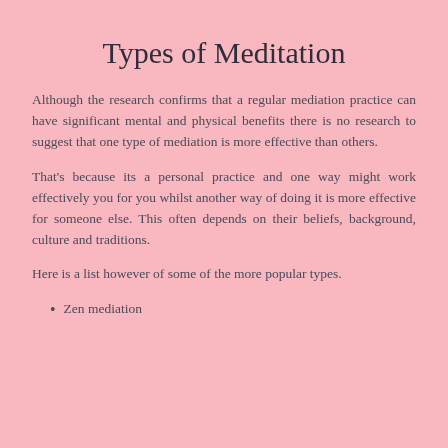Types of Meditation
Although the research confirms that a regular mediation practice can have significant mental and physical benefits there is no research to suggest that one type of mediation is more effective than others.
That's because its a personal practice and one way might work effectively you for you whilst another way of doing it is more effective for someone else. This often depends on their beliefs, background, culture and traditions.
Here is a list however of some of the more popular types.
Zen mediation